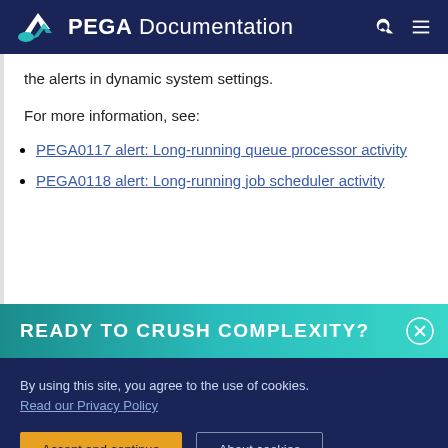PEGA Documentation
the alerts in dynamic system settings.
For more information, see:
PEGA0117 alert: Long-running queue processor activity
PEGA0118 alert: Long-running job scheduler activity
READY TO CRUSH COMPLEXITY?
By using this site, you agree to the use of cookies. Read our Privacy Policy
Accept and continue  About cookies